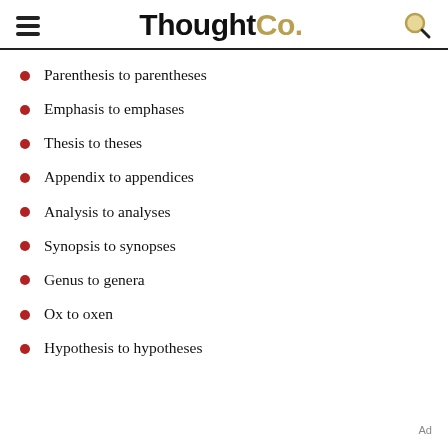ThoughtCo.
Parenthesis to parentheses
Emphasis to emphases
Thesis to theses
Appendix to appendices
Analysis to analyses
Synopsis to synopses
Genus to genera
Ox to oxen
Hypothesis to hypotheses
Ad